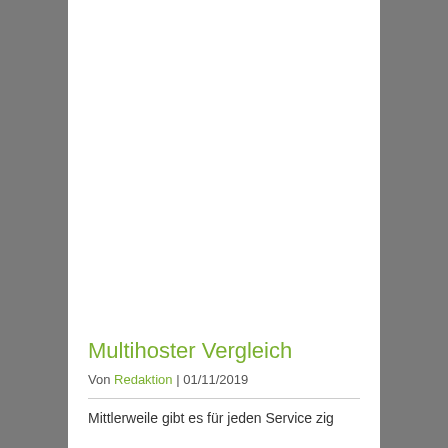[Figure (photo): Blurred grey background image with dark circular shapes visible on left and right sides, partially obscured by the white content area overlay.]
Multihoster Vergleich
Von Redaktion | 01/11/2019
Mittlerweile gibt es für jeden Service zig